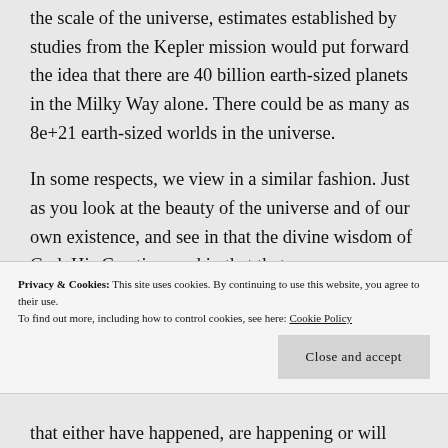the scale of the universe, estimates established by studies from the Kepler mission would put forward the idea that there are 40 billion earth-sized planets in the Milky Way alone. There could be as many as 8e+21 earth-sized worlds in the universe.
In some respects, we view in a similar fashion. Just as you look at the beauty of the universe and of our own existence, and see in that the divine wisdom of God, His Creation, and in that that you see something very special.
Privacy & Cookies: This site uses cookies. By continuing to use this website, you agree to their use.
To find out more, including how to control cookies, see here: Cookie Policy
that either have happened, are happening or will